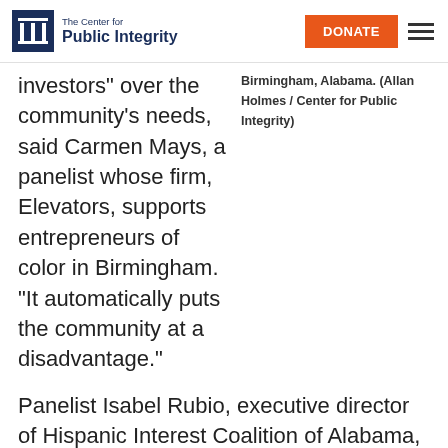The Center for Public Integrity | DONATE
investors” over the community’s needs, said Carmen Mays, a panelist whose firm, Elevators, supports entrepreneurs of color in Birmingham. “It automatically puts the community at a disadvantage.”
Birmingham, Alabama. (Allan Holmes / Center for Public Integrity)
Panelist Isabel Rubio, executive director of Hispanic Interest Coalition of Alabama, said she was excited about the opportunity-zone program when it was first announced. The coalition issued 17 microloans to small businesses last year, 15 to